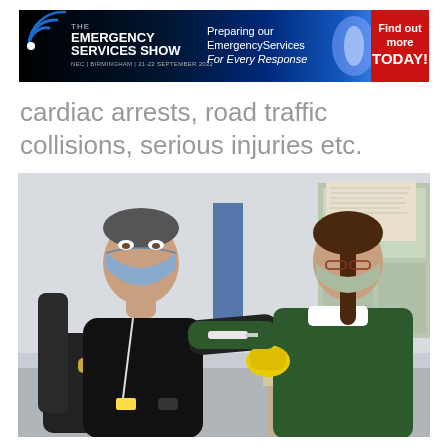[Figure (logo): The Emergency Services Show banner ad. Dark blue gradient background. Left section: concentric wave logo and 'THE EMERGENCY SERVICES SHOW' text with 'NEC | BIRMINGHAM | 21-22 SEPTEMBER 2022'. Middle: 'Preparing our EmergencyServices For Every Response'. Right: Red rectangle with 'Find out more TODAY!']
cardiac arrests, road traffic collisions, serious injuries etc.
[Figure (photo): A man in a black uniform and blue face mask sitting in a chair receiving a vaccination injection in his upper arm from a female healthcare worker in a dark green uniform and white collar, also wearing a face mask. The healthcare worker is holding a yellow container. They are in an office/clinic setting.]